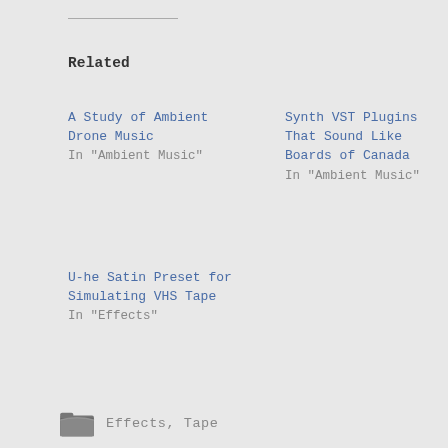Related
A Study of Ambient Drone Music
In "Ambient Music"
Synth VST Plugins That Sound Like Boards of Canada
In "Ambient Music"
U-he Satin Preset for Simulating VHS Tape
In "Effects"
Effects, Tape
BOARDS OF CANADA , MUSIC , SATIN , TAPE